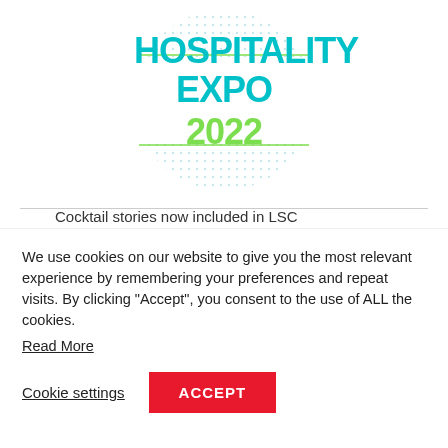[Figure (logo): Hospitality Expo 2022 logo with dotted circle background, teal 'HOSPITALITY EXPO' text and lime green '2022' text]
Cocktail stories now included in LSC
[Figure (photo): Photo of people seated at tables in a conference/expo setting, with 'Spirits' signage visible in the background]
We use cookies on our website to give you the most relevant experience by remembering your preferences and repeat visits. By clicking “Accept”, you consent to the use of ALL the cookies.
Read More
Cookie settings
ACCEPT